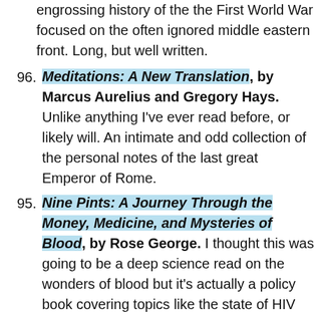(continuation) engrossing history of the the First World War focused on the often ignored middle eastern front. Long, but well written.
96. Meditations: A New Translation, by Marcus Aurelius and Gregory Hays. Unlike anything I've ever read before, or likely will. An intimate and odd collection of the personal notes of the last great Emperor of Rome.
95. Nine Pints: A Journey Through the Money, Medicine, and Mysteries of Blood, by Rose George. I thought this was going to be a deep science read on the wonders of blood but it's actually a policy book covering topics like the state of HIV and menstruation culture. It was OK.
94. The Five Dysfunctions of a Team, by Patrick Lencioni. A quick business fable style book about the importance of team work for organizations looking to execute. Good, pragmatic stuff.
93. A Vital Question, by Nick Lane. A fascinating theor...